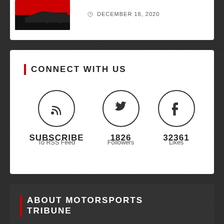DECEMBER 18, 2020
CONNECT WITH US
SUBSCRIBE
To RSS Feed
1826
Followers
32361
Likes
ABOUT MOTORSPORTS TRIBUNE
With coverage extending from Formula 1, IndyCar, NASCAR and more, Motorsports Tribune is one of the premier outlets for racing news in the United States. We are a team of the hardest-working and most trusted names in the industry that are all